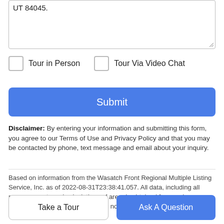UT 84045.
Tour in Person
Tour Via Video Chat
Submit
Disclaimer: By entering your information and submitting this form, you agree to our Terms of Use and Privacy Policy and that you may be contacted by phone, text message and email about your inquiry.
Based on information from the Wasatch Front Regional Multiple Listing Service, Inc. as of 2022-08-31T23:38:41.057. All data, including all measurements and calculations of area, is obtained from various sources and has not been, and will not be, verified by
Take a Tour
Ask A Question